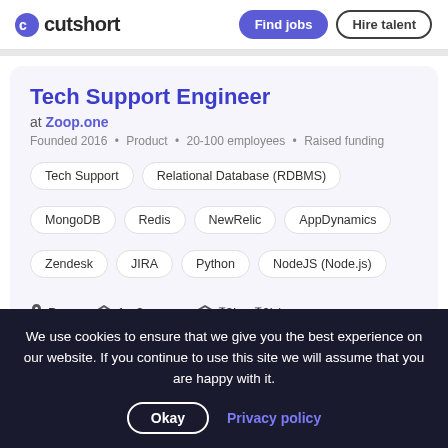cutshort | Find jobs | Hire talent
Tech Support Engineer
at Zoop.one
Founded 2016 · Product · 20-100 employees · Raised funding
Tech Support
Relational Database (RDBMS)
MongoDB
Redis
NewRelic
AppDynamics
Zendesk
JIRA
Python
NodeJS (Node.js)
Pune  1 - 3 years  ₹3L – ₹6L/yr
Job Brief
We use cookies to ensure that we give you the best experience on our website. If you continue to use this site we will assume that you are happy with it.
Okay | Privacy policy